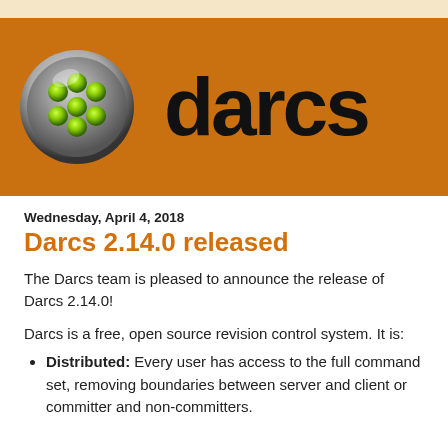[Figure (logo): Darcs logo banner: orange background with a round green flower/bubble icon on the left and the word 'darcs' in large black bold text on the right]
Wednesday, April 4, 2018
Darcs 2.14.0 released
The Darcs team is pleased to announce the release of Darcs 2.14.0!
Darcs is a free, open source revision control system. It is:
Distributed: Every user has access to the full command set, removing boundaries between server and client or committer and non-committers.